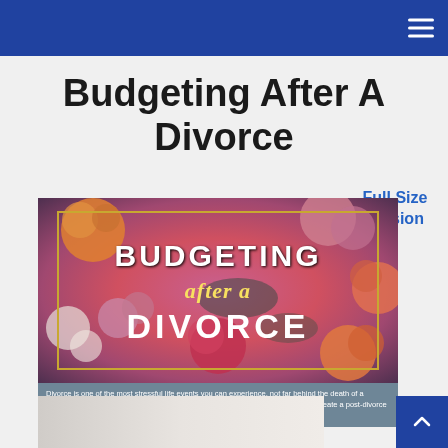Budgeting After A Divorce
Full Size Version
[Figure (illustration): Decorative infographic image showing flowers background with text overlay reading: BUDGETING after a DIVORCE, with a gold decorative frame border]
Divorce is one of the most stressful life events you can experience, not far behind the death of a spouse. Financial disruption can add to the stress. Read on to learn how you can create a post-divorce budget that can help you take control and pursue your goals.